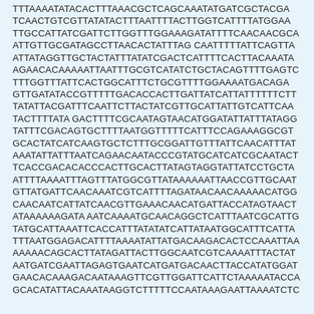TTTAAAATATACACTTTAAACGCTCAGCAAATATGATCGCTACGA TCAACTGTCGTTATATACTTTAATTTTACTTGGTCATTTTATGGAA TTGCCATTATCGATTCTTGGTTTGGAAAGATATTTTCAACAACGCA ATTGTTGCGATAGCCTTAACACTATTTAG CAATTTTTATTCAGTTA ATTATAGGTTGCTACTATTTATATCGACTCATTTTCACTTACAAATA AGAACACAAAAATTAATTTGCGTCATATCTGCTACAGTTTTGAGTC TTTGGTTTATTCACTGGCATTTCTGCGTTTTGGAAAATGACAGA GTTGATATACCGTTTTTGACACCACTTGATTATCATTATTTTTTCTT TATATTACGATTTCAATTCTTACTATCGTTGCATTATTGTCATTCAA TACTTTTATA GACTTTTCGCAATAGTAACATGGATATTATTTATAGG TATTTCGACAGTGCTTTTAATGGTTTTTCATTTCCAGAAAGGCGT GCACTATCATCAAGTGCTCTTTGCGGATTGTTTATTCAACATTTAT AAATATTATTTAATCAGAACAATACCCGTATGCATCATCGCAATACT TCACCGACACACCCACTTGCACTTATAGTAGGTATTATCCTGCTA ATTTTAAAATTTAG TTTATGGCGTTATAAAAAATTAACCGTTGCAAT GTTATGATTCAACAAATCGTCATTTTAGATAACAACAAAAACATGG CAACAATCATTATCAACGTTGAAACAACATGATTACCATAGTAACT ATAAAAAAGATA AATCAAAATGCAACAGGCTCATTTAATCGCATTG TATGCATTAAATTCACCATTTATATATCATTATAATGGCATTTCATTA TTTAATGGAGACATTTTAAAATATTATGACAAGACACTCCAAATTAA AAAAACAGCACTTATAGATTACTTGGCAATCGTCAAAATTTACTAT AATGATCGAATTAGAGTGAATCATGATGACAACTTACCATATGGAT GAACACAAAGACAATAAAGTTCGTTGGATTCATTCTAAAAATACCA GCACATATTACAAATAAGGTCTTTTTCCAATAAAGAATTAAAATCTC